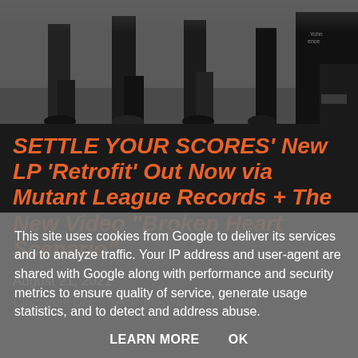[Figure (photo): Band photo showing multiple people standing, partial view of legs and one person seated on right with tattoos and black t-shirt]
SETTLE YOUR SCORES' New LP 'Retrofit' Out Now via Mutant League Records + The New Video "Broken Heart Scenario"
August 21, 2021
Cincinnati OH... settle the Yours floors and
This site uses cookies from Google to deliver its services and to analyze traffic. Your IP address and user-agent are shared with Google along with performance and security metrics to ensure quality of service, generate usage statistics, and to detect and address abuse.
LEARN MORE    OK